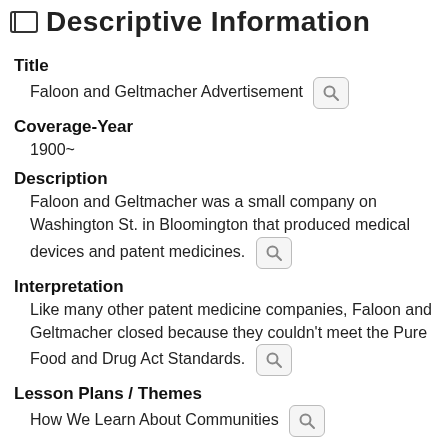Descriptive Information
Title
Faloon and Geltmacher Advertisement
Coverage-Year
1900~
Description
Faloon and Geltmacher was a small company on Washington St. in Bloomington that produced medical devices and patent medicines.
Interpretation
Like many other patent medicine companies, Faloon and Geltmacher closed because they couldn't meet the Pure Food and Drug Act Standards.
Lesson Plans / Themes
How We Learn About Communities
Learning Standards